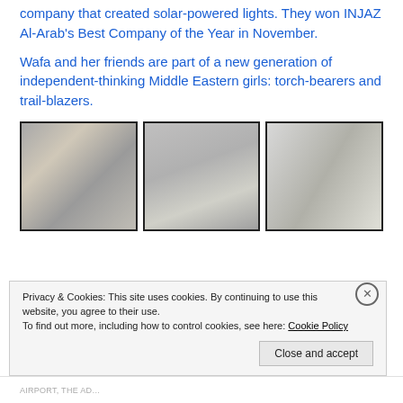company that created solar-powered lights. They won INJAZ Al-Arab's Best Company of the Year in November.
Wafa and her friends are part of a new generation of independent-thinking Middle Eastern girls: torch-bearers and trail-blazers.
[Figure (photo): Three black-and-white portrait photographs of women arranged side by side. Left photo shows a woman in a headscarf outdoors. Middle photo shows a woman in a white sari. Right photo shows an older woman near fabric or a tent.]
Privacy & Cookies: This site uses cookies. By continuing to use this website, you agree to their use.
To find out more, including how to control cookies, see here: Cookie Policy